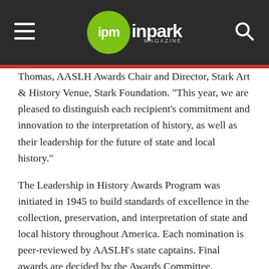ipm inpark MAGAZINE
Thomas, AASLH Awards Chair and Director, Stark Art & History Venue, Stark Foundation. "This year, we are pleased to distinguish each recipient's commitment and innovation to the interpretation of history, as well as their leadership for the future of state and local history."
The Leadership in History Awards Program was initiated in 1945 to build standards of excellence in the collection, preservation, and interpretation of state and local history throughout America. Each nomination is peer-reviewed by AASLH's state captains. Final awards are decided by the Awards Committee, comprised of AASLH's fourteen regional representatives and the National Awards Chair.
The awards include:
The Award of Merit which is presented for excellence in